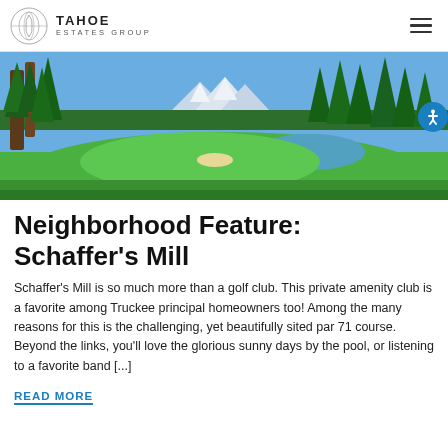TAHOE ESTATES GROUP
[Figure (photo): Aerial view of a golf course with green fairways, a pond, and tall pine trees with snow-capped mountains in the background under a blue sky.]
Neighborhood Feature: Schaffer's Mill
Schaffer's Mill is so much more than a golf club. This private amenity club is a favorite among Truckee principal homeowners too! Among the many reasons for this is the challenging, yet beautifully sited par 71 course. Beyond the links, you'll love the glorious sunny days by the pool, or listening to a favorite band [...]
READ MORE